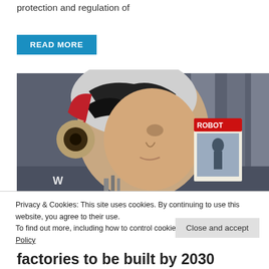protection and regulation of
READ MORE
[Figure (photo): A humanoid robot with a stylized head and headphones, reading a magazine titled 'ROBOT', set in an industrial or transit background.]
Privacy & Cookies: This site uses cookies. By continuing to use this website, you agree to their use.
To find out more, including how to control cookies, see here: Cookie Policy
Close and accept
factories to be built by 2030